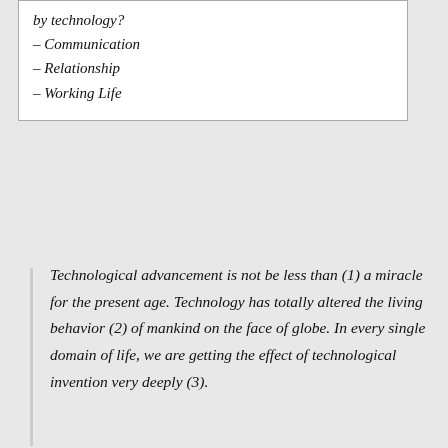by technology?
– Communication
– Relationship
– Working Life
Technological advancement is not be less than (1) a miracle for the present age. Technology has totally altered the living behavior (2) of mankind on the face of globe. In every single domain of life, we are getting the effect of technological invention very deeply (3).